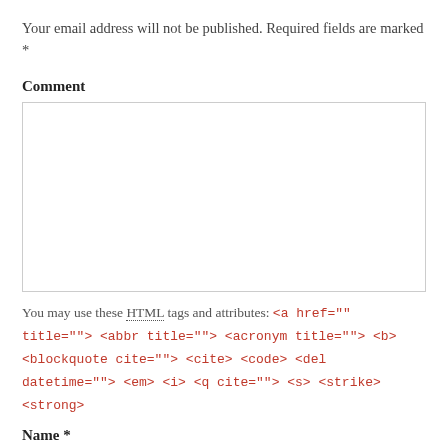Your email address will not be published. Required fields are marked *
Comment
[Figure (other): Large comment textarea input box]
You may use these HTML tags and attributes: <a href="" title=""> <abbr title=""> <acronym title=""> <b> <blockquote cite=""> <cite> <code> <del datetime=""> <em> <i> <q cite=""> <s> <strike> <strong>
Name *
[Figure (other): Name text input field]